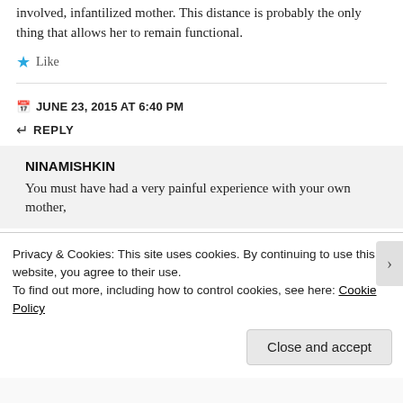involved, infantilized mother. This distance is probably the only thing that allows her to remain functional.
★ Like
JUNE 23, 2015 AT 6:40 PM
↵ REPLY
NINAMISHKIN
You must have had a very painful experience with your own mother,
Privacy & Cookies: This site uses cookies. By continuing to use this website, you agree to their use. To find out more, including how to control cookies, see here: Cookie Policy
Close and accept